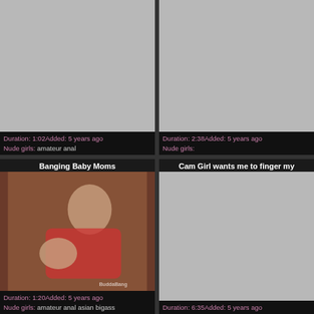[Figure (screenshot): Top-left video thumbnail placeholder (gray)]
Duration: 1:02Added: 5 years ago
Nude girls: amateur anal
[Figure (screenshot): Top-right video thumbnail placeholder (gray)]
Duration: 2:38Added: 5 years ago
Nude girls:
Banging Baby Moms
[Figure (photo): Photo of woman in red top performing oral sex, with BuddaBang watermark]
Duration: 1:20Added: 5 years ago
Nude girls: amateur anal asian bigass
Cam Girl wants me to finger my
[Figure (photo): Bottom-right video thumbnail placeholder (gray)]
Duration: 6:35Added: 5 years ago